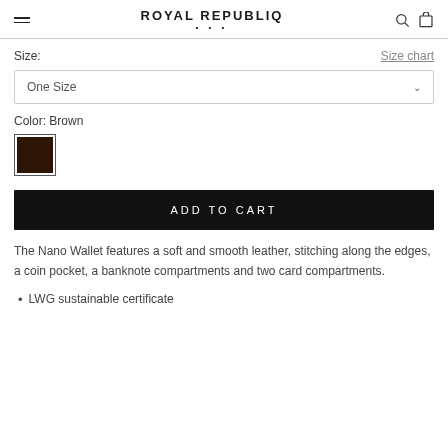ROYAL REPUBLIQ
Size:
Size chart
One Size
Color: Brown
[Figure (illustration): Brown color swatch square with dark border]
ADD TO CART
The Nano Wallet features a soft and smooth leather, stitching along the edges, a coin pocket, a banknote compartments and two card compartments.
LWG sustainable certificate